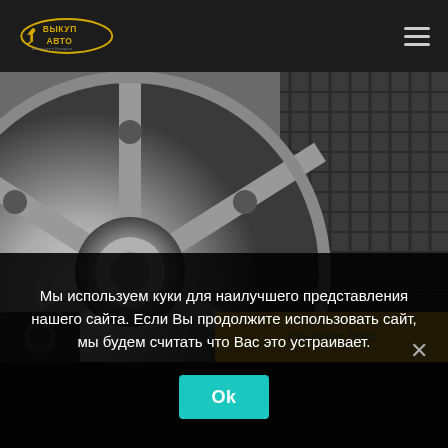ВЫКУП АВТО — navigation header with logo and hamburger menu
[Figure (photo): Close-up black and white photo of a car alloy wheel and tire]
Coupons from
Мы используем куки для наилучшего представления нашего сайта. Если Вы продолжите использовать сайт, мы будем считать что Вас это устраивает.
Ok